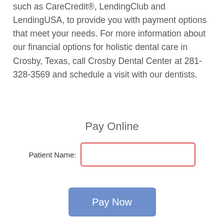such as CareCredit®, LendingClub and LendingUSA, to provide you with payment options that meet your needs. For more information about our financial options for holistic dental care in Crosby, Texas, call Crosby Dental Center at 281-328-3569 and schedule a visit with our dentists.
Pay Online
Patient Name:
Pay Now